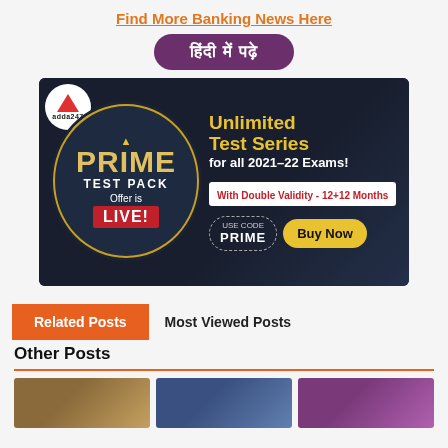Find More Banking News Here
हिंदी में पढ़े
[Figure (illustration): Adda247 Prime Test Pack advertisement banner. Shows a circular badge with 'PRIME TEST PACK Offer is LIVE!' in yellow and white on dark background, with text 'Unlimited Test Series for all 2021-22 Exams!', 'With Double Validity - 12+12 Months', 'USE CODE PRIME', and a 'Buy Now' button in yellow.]
Related Posts
Most Viewed Posts
Other Posts
[Figure (photo): Three thumbnail images at the bottom of the page]